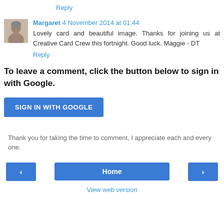Reply
Margaret 4 November 2014 at 01:44
Lovely card and beautiful image. Thanks for joining us at Creative Card Crew this fortnight. Good luck. Maggie - DT
Reply
To leave a comment, click the button below to sign in with Google.
[Figure (other): SIGN IN WITH GOOGLE button]
Thank you for taking the time to comment, I appreciate each and every one.
[Figure (other): Navigation bar with left arrow, Home, and right arrow buttons, and View web version link below]